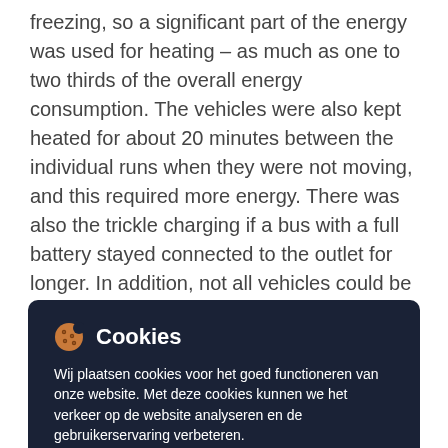freezing, so a significant part of the energy was used for heating – as much as one to two thirds of the overall energy consumption. The vehicles were also kept heated for about 20 minutes between the individual runs when they were not moving, and this required more energy. There was also the trickle charging if a bus with a full battery stayed connected to the outlet for longer. In addition, not all vehicles could be charged in the SWB depot so were left outside, so that more energy was
[Figure (other): Cookie consent banner overlay with dark navy background. Contains a cookie emoji icon, bold title 'Cookies', descriptive text in Dutch about cookie usage, and two buttons: 'Cookies akkoord' (brown button) and 'Voorkeuren' (outline button).]
consumption. Logically, diesel consumption and